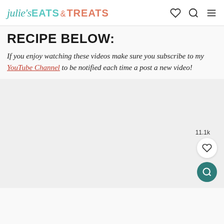julie's EATS & TREATS
RECIPE BELOW:
If you enjoy watching these videos make sure you subscribe to my YouTube Channel to be notified each time a post a new video!
[Figure (other): Video embed placeholder with light gray background, showing a save count of 11.1k, a heart/save button, and a search button]